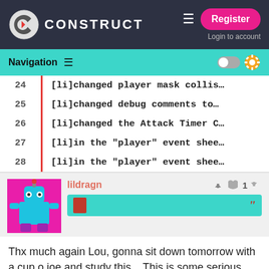CONSTRUCT — Register / Login to account
Navigation
| Line | Code |
| --- | --- |
| 24 | [li]changed player mask collis… |
| 25 | [li]changed debug comments to… |
| 26 | [li]changed the Attack Timer C… |
| 27 | [li]in the "player" event shee… |
| 28 | [li]in the "player" event shee… |
lildragn
1
Thx much again Lou, gonna sit down tomorrow with a cup o joe and study this... This is some serious value added to the community...